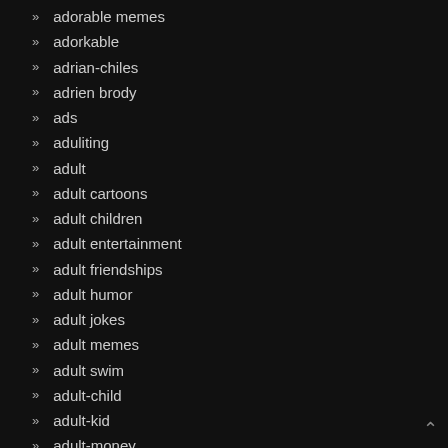adorable memes
adorkable
adrian-chiles
adrien brody
ads
aduliting
adult
adult cartoons
adult children
adult entertainment
adult friendships
adult humor
adult jokes
adult memes
adult swim
adult-child
adult-kid
adult-money
adulthood
adulting
adulting memes
adults
adventure time
advert
advertisement